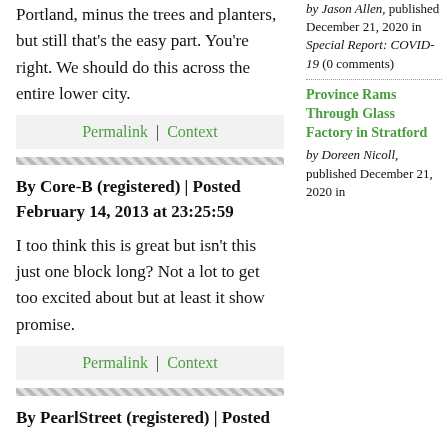Portland, minus the trees and planters, but still that's the easy part. You're right. We should do this across the entire lower city.
Permalink | Context
By Core-B (registered) | Posted February 14, 2013 at 23:25:59
I too think this is great but isn't this just one block long? Not a lot to get too excited about but at least it show promise.
Permalink | Context
By PearlStreet (registered) | Posted
by Jason Allen, published December 21, 2020 in Special Report: COVID-19 (0 comments)
Province Rams Through Glass Factory in Stratford
by Doreen Nicoll, published December 21, 2020 in